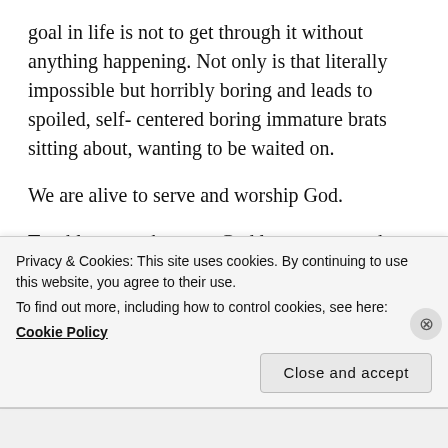goal in life is not to get through it without anything happening. Not only is that literally impossible but horribly boring and leads to spoiled, self- centered boring immature brats sitting about, wanting to be waited on.
We are alive to serve and worship God.
Trouble comes because God loves us enough to grow and mature us and show us His love for us by caring us through everything. We grow, we mayure, we develop into people who serve and worship God through trouble. Unfortunately there is sin in this
Privacy & Cookies: This site uses cookies. By continuing to use this website, you agree to their use.
To find out more, including how to control cookies, see here:
Cookie Policy
Close and accept